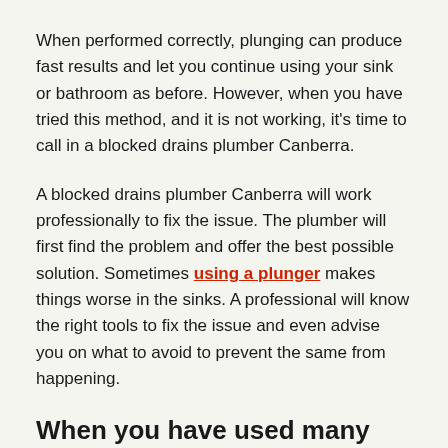When performed correctly, plunging can produce fast results and let you continue using your sink or bathroom as before. However, when you have tried this method, and it is not working, it's time to call in a blocked drains plumber Canberra.
A blocked drains plumber Canberra will work professionally to fix the issue. The plumber will first find the problem and offer the best possible solution. Sometimes using a plunger makes things worse in the sinks. A professional will know the right tools to fix the issue and even advise you on what to avoid to prevent the same from happening.
When you have used many unclogging tools but the issue persists